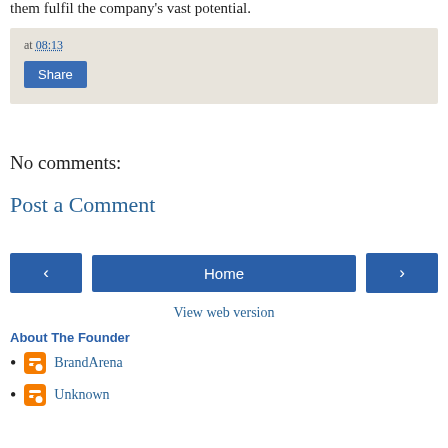them fulfil the company's vast potential.
at 08:13
[Figure (screenshot): Share button within a light beige box]
No comments:
Post a Comment
[Figure (screenshot): Navigation row with left arrow button, Home button, and right arrow button]
View web version
About The Founder
BrandArena
Unknown